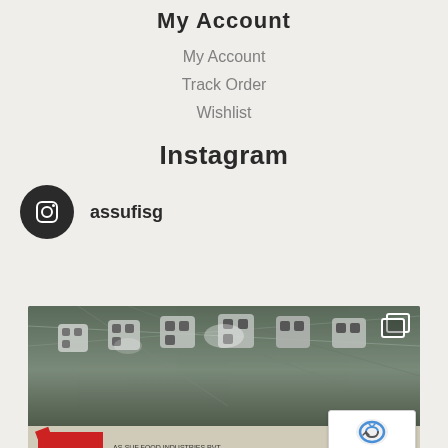My Account
My Account
Track Order
Wishlist
Instagram
assufisg
[Figure (photo): Photo of industrial equipment hanging from ceiling of a large warehouse/exhibition hall, with a trade show booth visible at the bottom showing red branding and text 'AS-SUF FOOD INDUSTRIES PVT...']